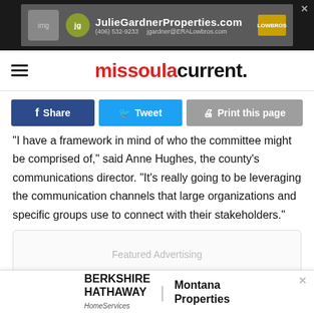[Figure (screenshot): JulieGardnerProperties.com advertisement banner with photo, logo, phone number and email]
missoulacurrent.
[Figure (screenshot): Social sharing buttons: Share (Facebook), Tweet (Twitter), Print this page]
"I have a framework in mind of who the committee might be comprised of," said Anne Hughes, the county's communications director. "It's really going to be leveraging the communication channels that large organizations and specific groups use to connect with their stakeholders."
[Figure (other): Featured Advertising placeholder box]
The county is in serious need of fact, critical to the federal...
[Figure (screenshot): Berkshire Hathaway HomeServices | Montana Properties advertisement banner at bottom of page]